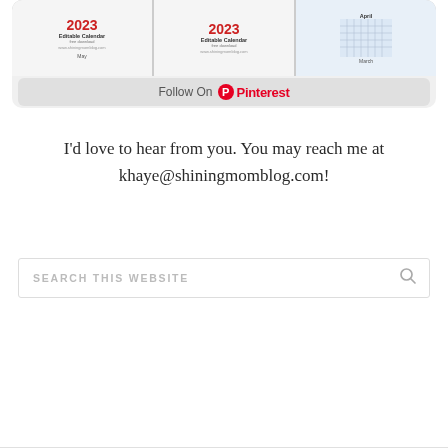[Figure (screenshot): Pinterest widget showing calendar pins with a 'Follow On Pinterest' button at the bottom]
I'd love to hear from you. You may reach me at khaye@shiningmomblog.com!
SEARCH THIS WEBSITE